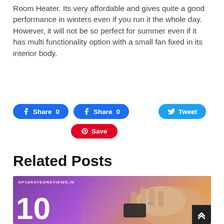Room Heater. Its very affordable and gives quite a good performance in winters even if you run it the whole day. However, it will not be so perfect for summer even if it has multi functionality option with a small fan fixed in its interior body.
[Figure (other): Social sharing buttons: Facebook Share 0 (x2), Twitter Tweet, Pinterest Save]
Related Posts
[Figure (photo): Related post thumbnail image with purple gradient background, top10ratedreviews.in watermark, large '10' number, and a hand holding a device on the right side]